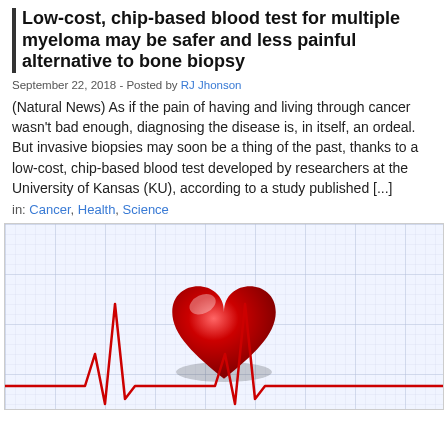Low-cost, chip-based blood test for multiple myeloma may be safer and less painful alternative to bone biopsy
September 22, 2018 - Posted by RJ Jhonson
(Natural News) As if the pain of having and living through cancer wasn't bad enough, diagnosing the disease is, in itself, an ordeal. But invasive biopsies may soon be a thing of the past, thanks to a low-cost, chip-based blood test developed by researchers at the University of Kansas (KU), according to a study published [...]
in: Cancer, Health, Science
[Figure (illustration): A 3D red heart on a grid paper background with a red ECG/heartbeat line waveform at the bottom]